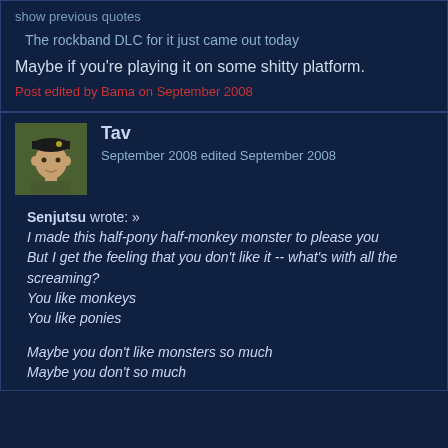show previous quotes
The rockband DLC for it just came out today
Maybe if you're playing it on some shitty platform.
Post edited by Bama on September 2008
Tav
September 2008 edited September 2008
Senjutsu wrote: »
I made this half-pony half-monkey monster to please you
But I get the feeling that you don't like it -- what's with all the screaming?
You like monkeys
You like ponies
Maybe you don't like monsters so much
Maybe you don't so much